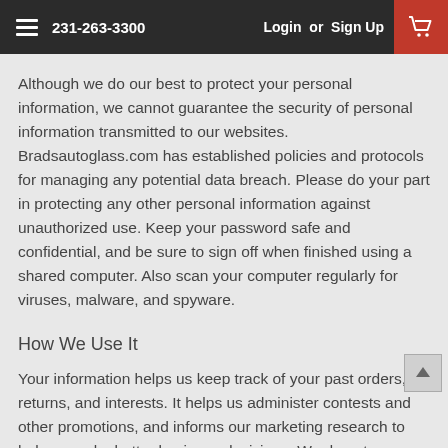231-263-3300  Login or Sign Up
Although we do our best to protect your personal information, we cannot guarantee the security of personal information transmitted to our websites. Bradsautoglass.com has established policies and protocols for managing any potential data breach. Please do your part in protecting any other personal information against unauthorized use. Keep your password safe and confidential, and be sure to sign off when finished using a shared computer. Also scan your computer regularly for viruses, malware, and spyware.
How We Use It
Your information helps us keep track of your past orders, returns, and interests. It helps us administer contests and other promotions, and informs our marketing research to help us make better business decisions. We do not use your personal information for automated decision-making or profiling.